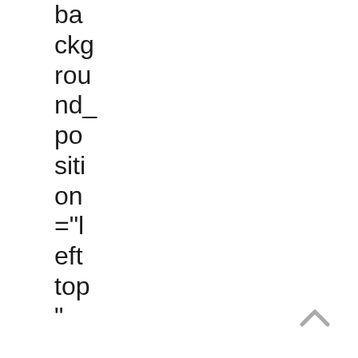background_position="left top" background_color
[Figure (other): A grey upward-pointing chevron/caret arrow icon in the bottom-right corner]